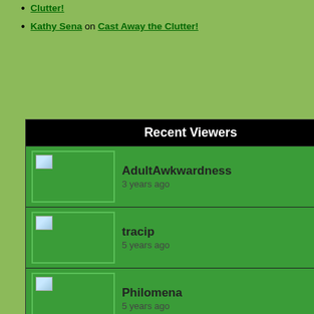Clutter!
Kathy Sena on Cast Away the Clutter!
Recent Viewers
AdultAwkwardness
3 years ago
tracip
5 years ago
Philomena
5 years ago
Sandiberlin
5 years ago
silcana
5 years ago
Powered By BlogCatalog